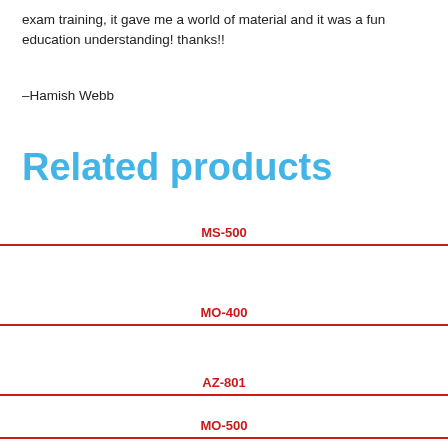exam training, it gave me a world of material and it was a fun education understanding! thanks!!
–Hamish Webb
Related products
MS-500
MO-400
AZ-801
MO-500